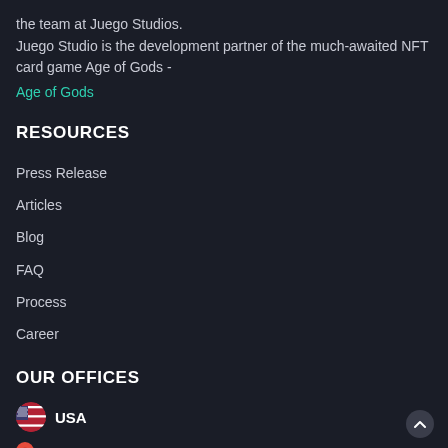the team at Juego Studios.
Juego Studio is the development partner of the much-awaited NFT card game Age of Gods -
Age of Gods
RESOURCES
Press Release
Articles
Blog
FAQ
Process
Career
OUR OFFICES
USA
Texas